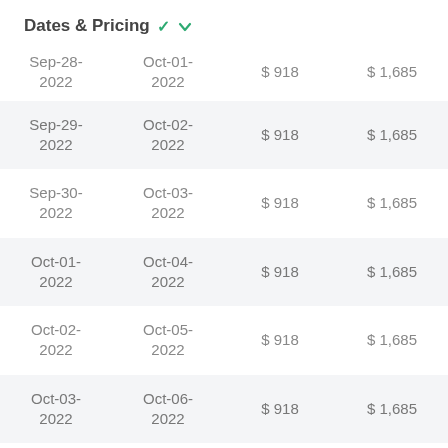Dates & Pricing
| Sep-28-
2022 | Oct-01-
2022 | $ 918 | $ 1,685 |
| Sep-29-
2022 | Oct-02-
2022 | $ 918 | $ 1,685 |
| Sep-30-
2022 | Oct-03-
2022 | $ 918 | $ 1,685 |
| Oct-01-
2022 | Oct-04-
2022 | $ 918 | $ 1,685 |
| Oct-02-
2022 | Oct-05-
2022 | $ 918 | $ 1,685 |
| Oct-03-
2022 | Oct-06-
2022 | $ 918 | $ 1,685 |
| Oct-04- | Oct-07- | $ 918 | $ 1,685 |